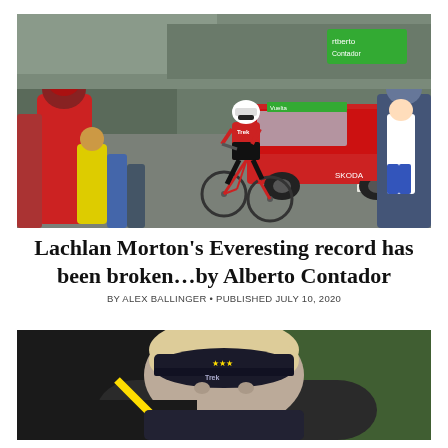[Figure (photo): A cyclist in red and black Trek team jersey racing up a mountain road, surrounded by spectators and followed by a red support car with Skoda branding.]
Lachlan Morton's Everesting record has been broken…by Alberto Contador
BY ALEX BALLINGER • PUBLISHED JULY 10, 2020
[Figure (photo): A person wearing a dark Trek cycling cap, partially visible from the shoulders up, with a blurred green background.]